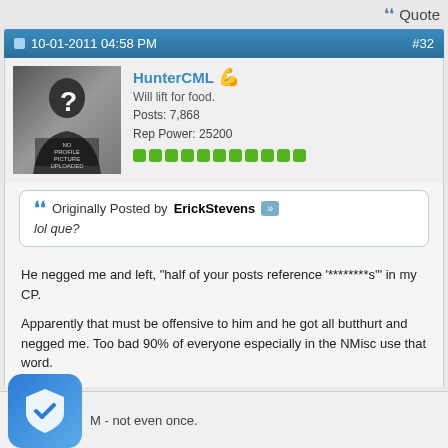Quote
10-01-2011 04:58 PM  #32
HunterCML
Will lift for food.
Posts: 7,868
Rep Power: 25200
Originally Posted by ErickStevens
lol que?
He negged me and left, "half of your posts reference '********s'" in my CP.

Apparently that must be offensive to him and he got all butthurt and negged me. Too bad 90% of everyone especially in the NMisc use that word.
M - not even once.